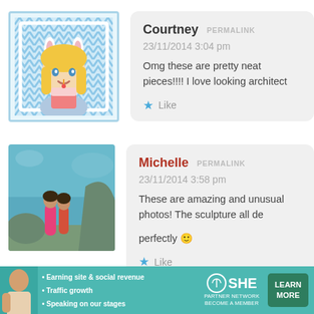[Figure (illustration): Cartoon avatar of a blonde girl with bunny ears holding a cake, on a teal chevron-patterned background]
Courtney PERMALINK
23/11/2014 3:04 pm
Omg these are pretty neat pieces!!!! I love looking architect...
★ Like
[Figure (photo): Photo of two women on a rocky beach/ocean background]
Michelle PERMALINK
23/11/2014 3:58 pm
These are amazing and unusual photos! The sculpture all de... perfectly 🙂
★ Like
[Figure (infographic): SHE Partner Network advertisement banner with bullet points: Earning site & social revenue, Traffic growth, Speaking on our stages. Includes LEARN MORE button.]